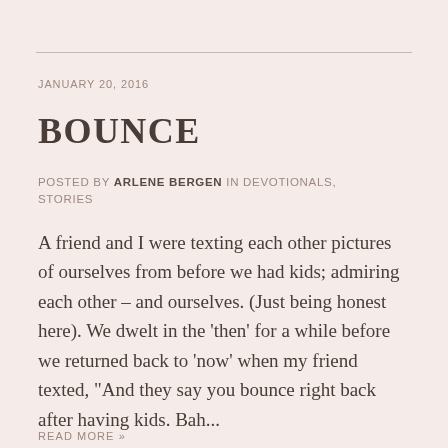JANUARY 20, 2016
BOUNCE
POSTED BY ARLENE BERGEN IN DEVOTIONALS, STORIES
A friend and I were texting each other pictures of ourselves from before we had kids; admiring each other – and ourselves. (Just being honest here). We dwelt in the ‘then’ for a while before we returned back to ‘now’ when my friend texted, “And they say you bounce right back after having kids. Bah...
READ MORE »